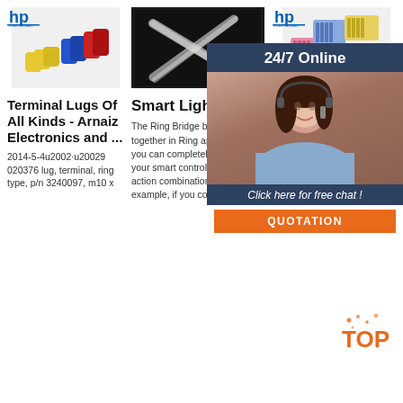[Figure (photo): HP logo and colorful cylindrical terminal lugs (yellow, blue, red) product image]
[Figure (photo): Two transparent/white plastic tubing pieces crossed on dark background]
[Figure (photo): HP logo and colorful wire connector combs/clips (blue, pink, yellow) product image]
Terminal Lugs Of All Kinds - Arnaiz Electronics and ...
Smart Lighting
Wiri - The Place to Buy Automotive Wiring ...
2014-5-4u2002·u20029 020376 lug, terminal, ring type, p/n 3240097, m10 x
The Ring Bridge brings it all together in Ring app. There, you can completely customize your smart controls and create action combinations. For example, if you connect a Ring
WiringProducts is the online place to buy automotive wiring & electrical supplies. Many of our wiring
[Figure (infographic): 24/7 Online chat widget overlay with agent photo and QUOTATION button]